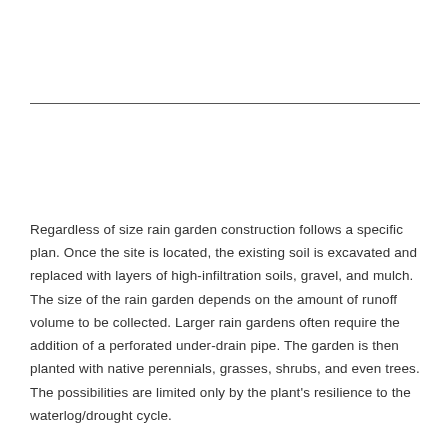Regardless of size rain garden construction follows a specific plan. Once the site is located, the existing soil is excavated and replaced with layers of high-infiltration soils, gravel, and mulch. The size of the rain garden depends on the amount of runoff volume to be collected. Larger rain gardens often require the addition of a perforated under-drain pipe. The garden is then planted with native perennials, grasses, shrubs, and even trees. The possibilities are limited only by the plant's resilience to the waterlog/drought cycle.